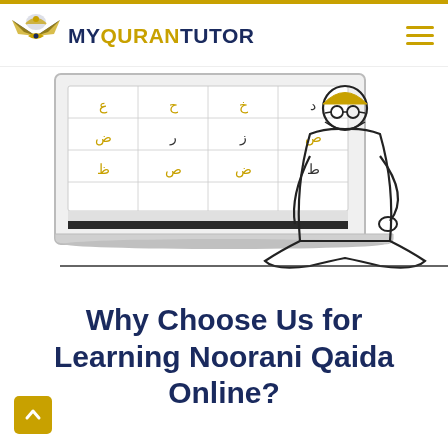MYQURANTUTOR
[Figure (illustration): Illustration of a person in traditional dress sitting cross-legged at a low desk using a laptop, with a screen showing Arabic letters/Noorani Qaida lesson in the background]
Why Choose Us for Learning Noorani Qaida Online?